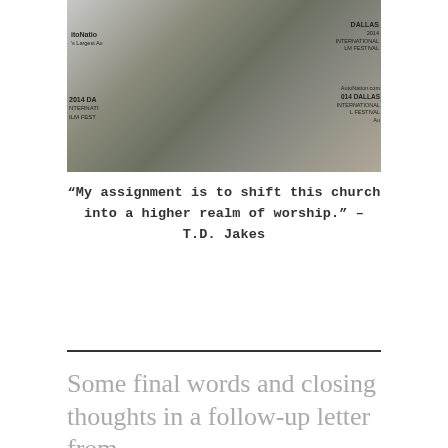[Figure (photo): Two people standing in front of a 2014 Dallas International Film Festival banner/backdrop with AutoNation branding. One person wears a white suit, the other wears an olive/khaki skirt with a black belt and white blouse.]
“My assignment is to shift this church into a higher realm of worship.” – T.D. Jakes
Some final words and closing thoughts in a follow-up letter from